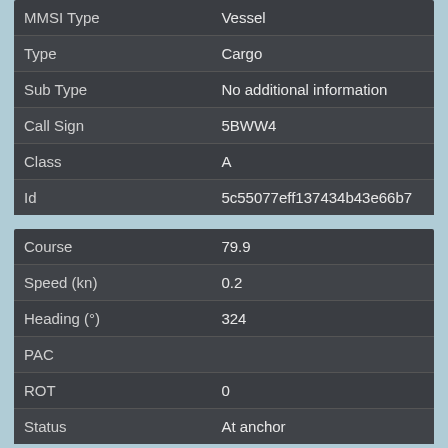| Field | Value |
| --- | --- |
| MMSI Type | Vessel |
| Type | Cargo |
| Sub Type | No additional information |
| Call Sign | 5BWW4 |
| Class | A |
| Id | 5c55077eff137434b43e66b7 |
| Field | Value |
| --- | --- |
| Course | 79.9 |
| Speed (kn) | 0.2 |
| Heading (°) | 324 |
| PAC |  |
| ROT | 0 |
| Status | At anchor |